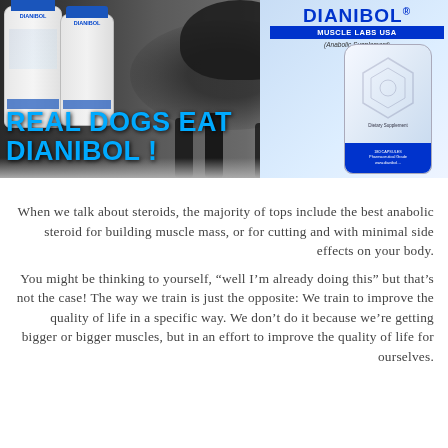[Figure (photo): Advertisement banner showing two white DIANIBOL supplement bottles on the left, a muscular dark dog in the center, and a larger DIANIBOL product bottle on the right with the text 'REAL DOGS EAT DIANIBOL!' overlaid in cyan blue]
When we talk about steroids, the majority of tops include the best anabolic steroid for building muscle mass, or for cutting and with minimal side effects on your body.
You might be thinking to yourself, "well I'm already doing this" but that's not the case! The way we train is just the opposite: We train to improve the quality of life in a specific way. We don't do it because we're getting bigger or bigger muscles, but in an effort to improve the quality of life for ourselves.